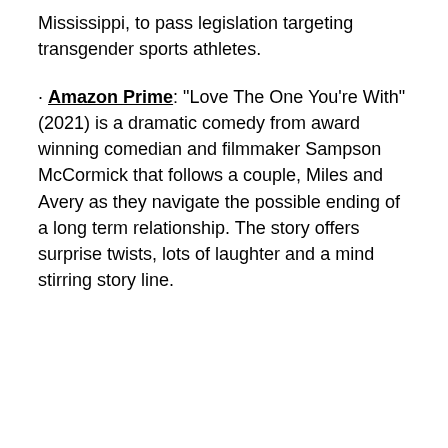Mississippi, to pass legislation targeting transgender sports athletes.
· Amazon Prime: “Love The One You’re With” (2021) is a dramatic comedy from award winning comedian and filmmaker Sampson McCormick that follows a couple, Miles and Avery as they navigate the possible ending of a long term relationship. The story offers surprise twists, lots of laughter and a mind stirring story line.